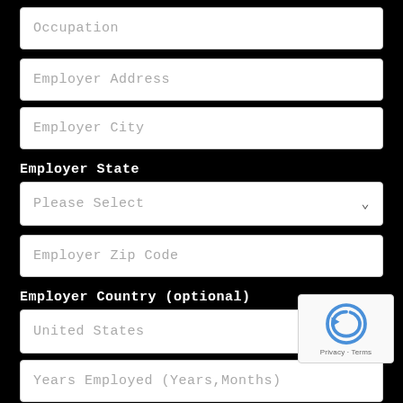Occupation
Employer Address
Employer City
Employer State
Please Select
Employer Zip Code
Employer Country (optional)
United States
Years Employed (Years,Months)
Gross Income